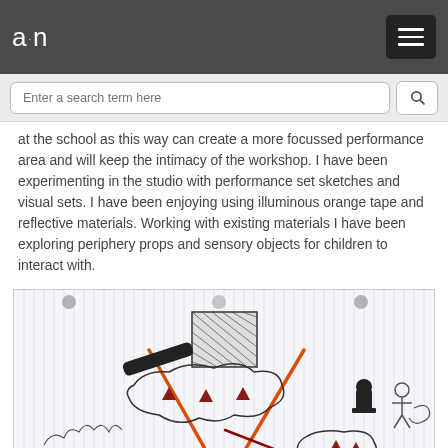a·n
at the school as this way can create a more focussed performance area and will keep the intimacy of the workshop. I have been experimenting in the studio with performance set sketches and visual sets. I have been enjoying using illuminous orange tape and reflective materials. Working with existing materials I have been exploring periphery props and sensory objects for children to interact with.
[Figure (illustration): A hand-drawn sketch on lined paper showing a performance set layout with orange triangle/cone lines, a hatched square shape at top center, cloud-like blob shapes with small red triangle markers inside, a black elongated shape, and small figurative silhouette shapes at the sides and right. Three circular dots appear at the top of the page (paper holes).]